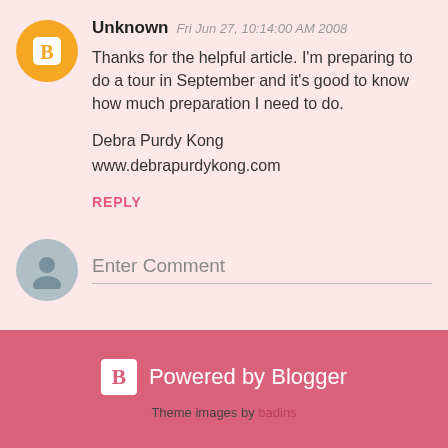Unknown  Fri Jun 27, 10:14:00 AM 2008
Thanks for the helpful article. I'm preparing to do a tour in September and it's good to know how much preparation I need to do.

Debra Purdy Kong
www.debrapurdykong.com
REPLY
Enter Comment
Powered by Blogger
Theme images by badins